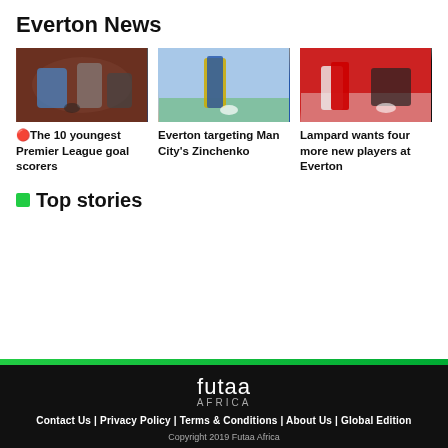Everton News
[Figure (photo): Soccer players in action, one in light blue kit, crowded match scene]
[Figure (photo): Soccer player in yellow and dark blue kit dribbling a ball]
[Figure (photo): Two soccer players in red and black kits tackling]
🔴The 10 youngest Premier League goal scorers
Everton targeting Man City's Zinchenko
Lampard wants four more new players at Everton
🟢 Top stories
futaa Africa
Contact Us | Privacy Policy | Terms & Conditions | About Us | Global Edition
Copyright 2019 Futaa Africa